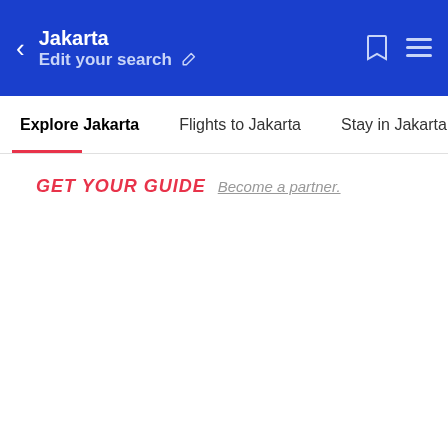Jakarta | Edit your search
Explore Jakarta | Flights to Jakarta | Stay in Jakarta
GET YOUR GUIDE Become a partner.